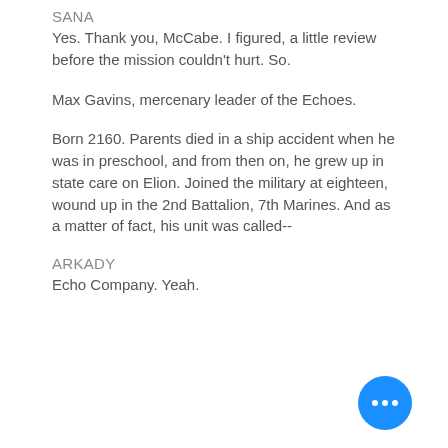SANA
Yes. Thank you, McCabe. I figured, a little review before the mission couldn’t hurt. So.
Max Gavins, mercenary leader of the Echoes.
Born 2160. Parents died in a ship accident when he was in preschool, and from then on, he grew up in state care on Elion. Joined the military at eighteen, wound up in the 2nd Battalion, 7th Marines. And as a matter of fact, his unit was called--
ARKADY
Echo Company. Yeah.